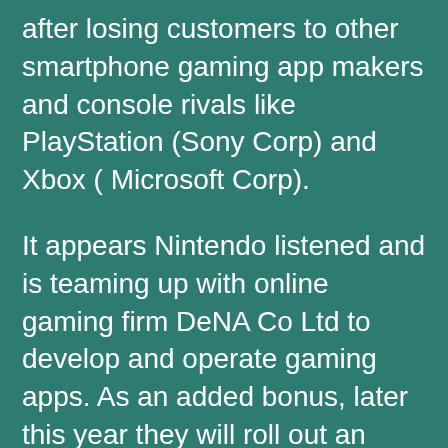after losing customers to other smartphone gaming app makers and console rivals like PlayStation (Sony Corp) and Xbox ( Microsoft Corp).
It appears Nintendo listened and is teaming up with online gaming firm DeNA Co Ltd to develop and operate gaming apps. As an added bonus, later this year they will roll out an online membership service accessible on mobile devices as well as Nintendo's Wii U console and the portable 3DS.
Satoru Iwata, Nintendo's president, believes the games made with DeNA will boost demand for its platforms by exposing more consumers to Nintendo games and driving